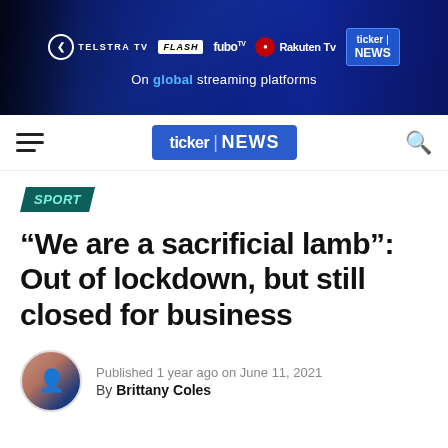[Figure (screenshot): Ticker News website banner showing streaming platform logos (Telstra TV, FLASH, fuboTV, Rakuten TV, Ticker NEWS) on a dark blue background with text 'On global streaming platforms']
ticker | NEWS
SPORT
“We are a sacrificial lamb”: Out of lockdown, but still closed for business
Published 1 year ago on June 11, 2021
By Brittany Coles